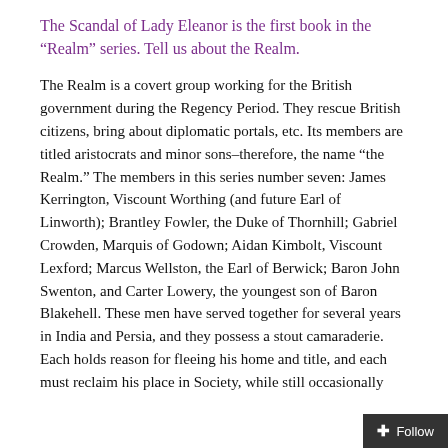The Scandal of Lady Eleanor is the first book in the “Realm” series. Tell us about the Realm.
The Realm is a covert group working for the British government during the Regency Period. They rescue British citizens, bring about diplomatic portals, etc. Its members are titled aristocrats and minor sons–therefore, the name “the Realm.” The members in this series number seven: James Kerrington, Viscount Worthing (and future Earl of Linworth); Brantley Fowler, the Duke of Thornhill; Gabriel Crowden, Marquis of Godown; Aidan Kimbolt, Viscount Lexford; Marcus Wellston, the Earl of Berwick; Baron John Swenton, and Carter Lowery, the youngest son of Baron Blakehell. These men have served together for several years in India and Persia, and they possess a stout camaraderie. Each holds reason for fleeing his home and title, and each must reclaim his place in Society, while still occasionally